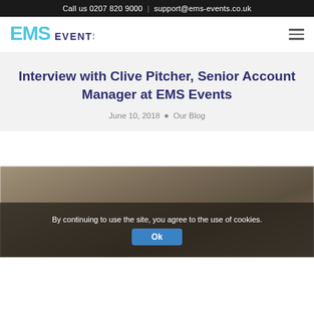Call us 0207 820 9000  |  support@ems-events.co.uk
[Figure (logo): EMS Events logo in teal and dark blue/purple text]
Interview with Clive Pitcher, Senior Account Manager at EMS Events
June 10, 2018  •  Our Blog
[Figure (photo): Blurred outdoor/nature background photo, partially obscured by cookie consent overlay]
By continuing to use the site, you agree to the use of cookies.